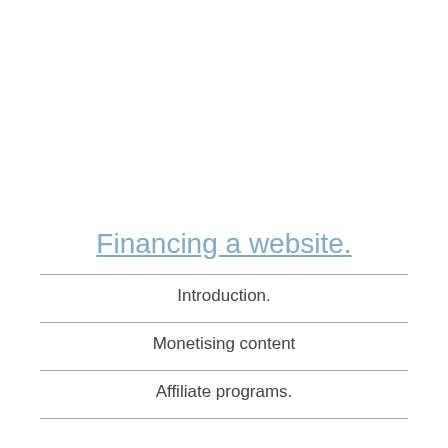Financing a website.
Introduction.
Monetising content
Affiliate programs.